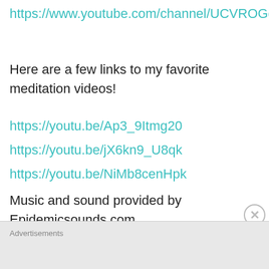https://www.youtube.com/channel/UCVROGd5sr8arY7e9eaeBBcg
Here are a few links to my favorite meditation videos!
https://youtu.be/Ap3_9Itmg20
https://youtu.be/jX6kn9_U8qk
https://youtu.be/NiMb8cenHpk
Music and sound provided by Epidemicsounds.com
Need gear for your investigation? Visit my affiliate link below!
Advertisements